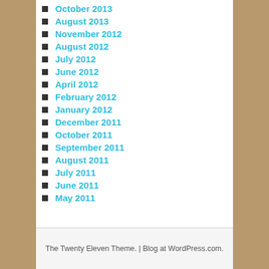October 2013
August 2013
November 2012
August 2012
July 2012
June 2012
April 2012
February 2012
January 2012
December 2011
October 2011
September 2011
August 2011
July 2011
June 2011
May 2011
The Twenty Eleven Theme. | Blog at WordPress.com.